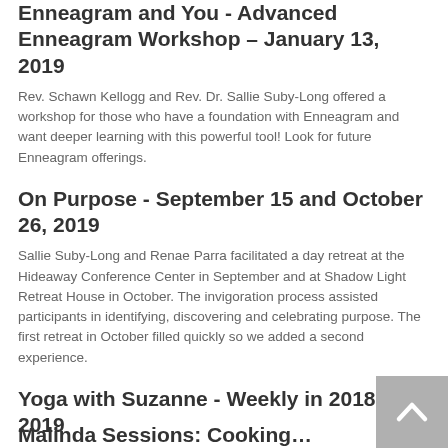Enneagram and You - Advanced Enneagram Workshop – January 13, 2019
Rev. Schawn Kellogg and Rev. Dr. Sallie Suby-Long offered a workshop for those who have a foundation with Enneagram and want deeper learning with this powerful tool!  Look for future Enneagram offerings.
On Purpose - September 15 and October 26, 2019
Sallie Suby-Long and Renae Parra facilitated a day retreat at the Hideaway Conference Center in September and at Shadow Light Retreat House in October.  The invigoration process assisted participants in identifying, discovering and celebrating purpose. The first retreat in October filled quickly so we added a second experience.
Yoga with Suzanne - Weekly in 2018 & 2019
Suzanne Alexandria led energizing and centering yoga classes each Thursday morning to inspire a sense of calm and gratitude.
Malinda Sessions: Cooking...